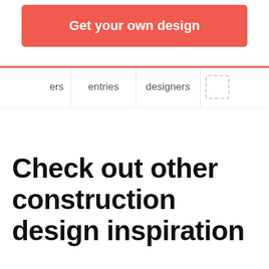Get your own design
ers
entries
designers
Check out other construction design inspiration